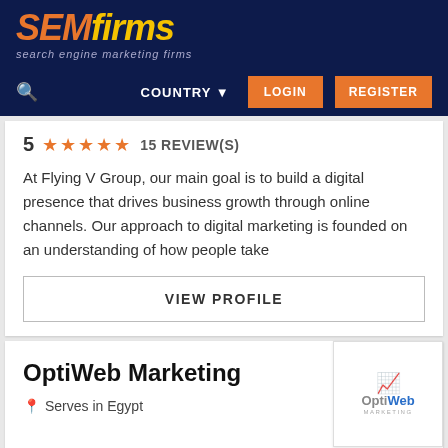SEMfirms — search engine marketing firms
5 ★★★★★ 15 REVIEW(S)
At Flying V Group, our main goal is to build a digital presence that drives business growth through online channels. Our approach to digital marketing is founded on an understanding of how people take
VIEW PROFILE
OptiWeb Marketing
Serves in Egypt